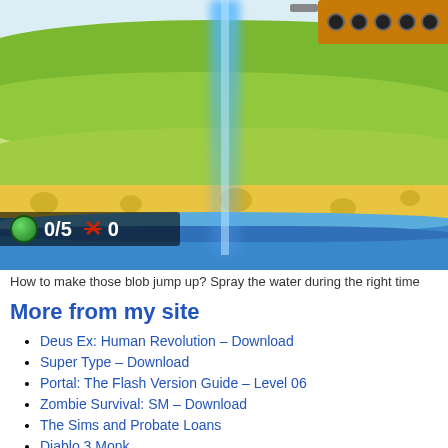[Figure (screenshot): Screenshot of a 2D game showing layered terrain (sky, grass, sand, water) with a blue water beam shooting down from a tank/machine in the top right. HUD shows '0/5' blobs and '0' lives.]
How to make those blob jump up? Spray the water during the right time
More from my site
Deus Ex: Human Revolution – Download
Super Type – Download
Portal: The Flash Version Guide – Level 06
Zombie Survival: SM – Download
The Sims and Probate Loans
Diablo 3 Monk